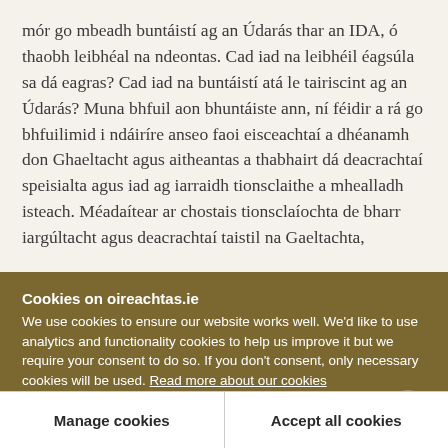mór go mbeadh buntáistí ag an Údarás thar an IDA, ó thaobh leibhéal na ndeontas. Cad iad na leibhéil éagsúla sa dá eagras? Cad iad na buntáistí atá le tairiscint ag an Údarás? Muna bhfuil aon bhuntáiste ann, ní féidir a rá go bhfuilimid i ndáiríre anseo faoi eisceachtaí a dhéanamh don Ghaeltacht agus aitheantas a thabhairt dá deacrachtaí speisialta agus iad ag iarraidh tionsclaithe a mhealladh isteach. Méadaítear ar chostais tionsclaíochta de bharr iargúltacht agus deacrachtaí taistil na Gaeltachta,
Cookies on oireachtas.ie
We use cookies to ensure our website works well. We'd like to use analytics and functionality cookies to help us improve it but we require your consent to do so. If you don't consent, only necessary cookies will be used. Read more about our cookies
Manage cookies
Accept all cookies